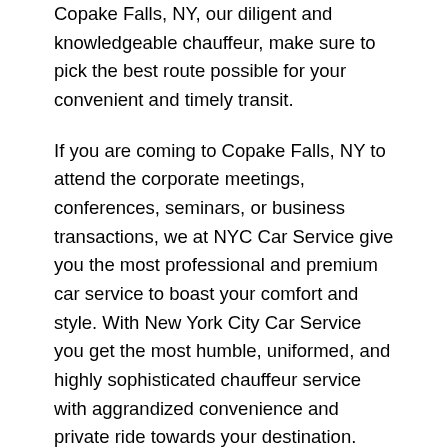Copake Falls, NY, our diligent and knowledgeable chauffeur, make sure to pick the best route possible for your convenient and timely transit.
If you are coming to Copake Falls, NY to attend the corporate meetings, conferences, seminars, or business transactions, we at NYC Car Service give you the most professional and premium car service to boast your comfort and style. With New York City Car Service you get the most humble, uniformed, and highly sophisticated chauffeur service with aggrandized convenience and private ride towards your destination.
It is quite a stressful and tedious task to rely on public vehicles or your car if you want to explore the